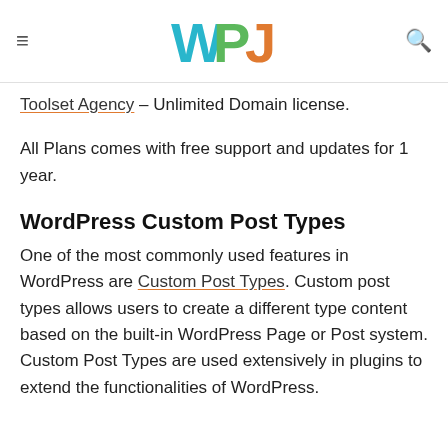WPJ
Toolset Agency – Unlimited Domain license.
All Plans comes with free support and updates for 1 year.
WordPress Custom Post Types
One of the most commonly used features in WordPress are Custom Post Types. Custom post types allows users to create a different type content based on the built-in WordPress Page or Post system. Custom Post Types are used extensively in plugins to extend the functionalities of WordPress.